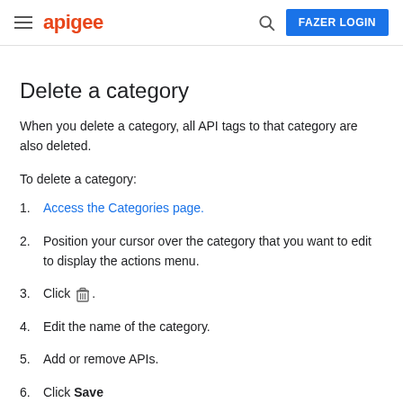apigee | FAZER LOGIN
Delete a category
When you delete a category, all API tags to that category are also deleted.
To delete a category:
1. Access the Categories page.
2. Position your cursor over the category that you want to edit to display the actions menu.
3. Click [trash icon].
4. Edit the name of the category.
5. Add or remove APIs.
6. Click Save